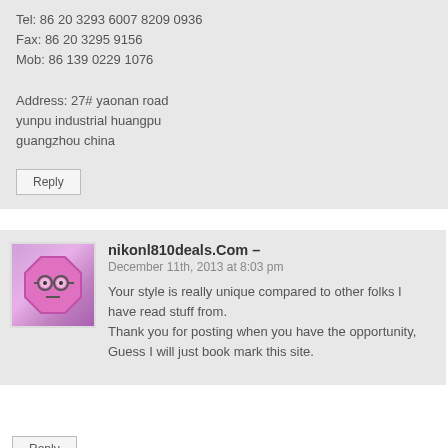Tel: 86 20 3293 6007 8209 0936
Fax: 86 20 3295 9156
Mob: 86 139 0229 1076

Address: 27# yaonan road yunpu industrial huangpu guangzhou china
Reply
[Figure (illustration): Avatar icon: pink octagon shape with a cartoon face wearing glasses]
nikonl810deals.Com -
December 11th, 2013 at 8:03 pm
Your style is really unique compared to other folks I have read stuff from.
Thank you for posting when you have the opportunity, Guess I will just book mark this site.